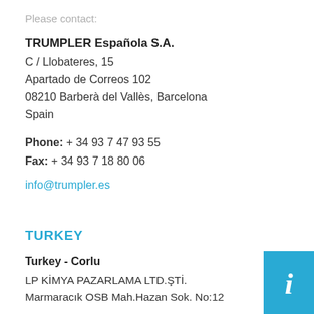Please contact:
TRUMPLER Española S.A.
C / Llobateres, 15
Apartado de Correos 102
08210 Barberà del Vallès, Barcelona
Spain
Phone: + 34 93 7 47 93 55
Fax: + 34 93 7 18 80 06
info@trumpler.es
TURKEY
Turkey - Corlu
LP KİMYA PAZARLAMA LTD.ŞTİ.
Marmaracık OSB Mah.Hazan Sok. No:12